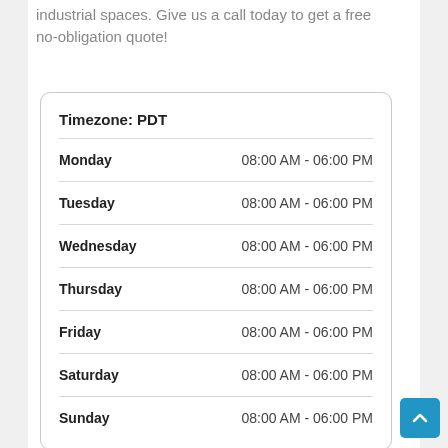industrial spaces. Give us a call today to get a free no-obligation quote!
| Day | Hours |
| --- | --- |
| Monday | 08:00 AM - 06:00 PM |
| Tuesday | 08:00 AM - 06:00 PM |
| Wednesday | 08:00 AM - 06:00 PM |
| Thursday | 08:00 AM - 06:00 PM |
| Friday | 08:00 AM - 06:00 PM |
| Saturday | 08:00 AM - 06:00 PM |
| Sunday | 08:00 AM - 06:00 PM |